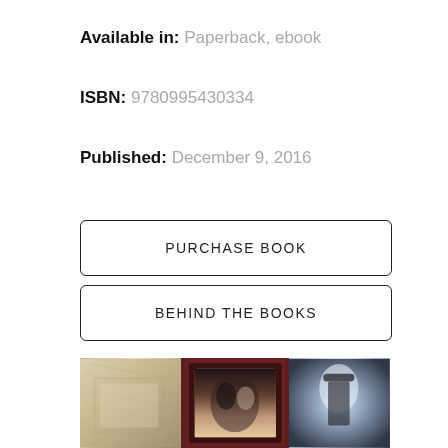Available in: Paperback, ebook
ISBN: 9780995430334
Published: December 9, 2016
PURCHASE BOOK
BEHIND THE BOOKS
[Figure (photo): A collage of three images: left shows old parchment/letters, middle shows a couple in period costume (book cover style), right shows a figure in a hat with misty light background.]